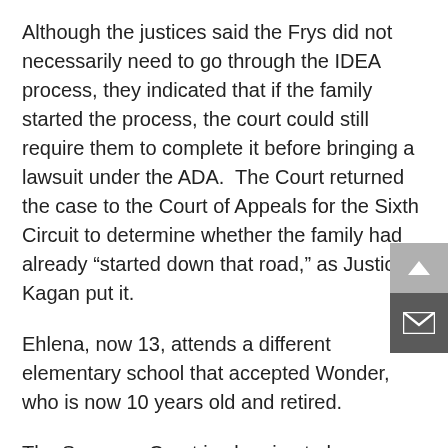Although the justices said the Frys did not necessarily need to go through the IDEA process, they indicated that if the family started the process, the court could still require them to complete it before bringing a lawsuit under the ADA.  The Court returned the case to the Court of Appeals for the Sixth Circuit to determine whether the family had already “started down that road,” as Justice Kagan put it.
Ehlena, now 13, attends a different elementary school that accepted Wonder, who is now 10 years old and retired.
The Supreme Court is planning to hear another case this spring involving how schools handle children with disabilities.  The family of a Colorado student with autism